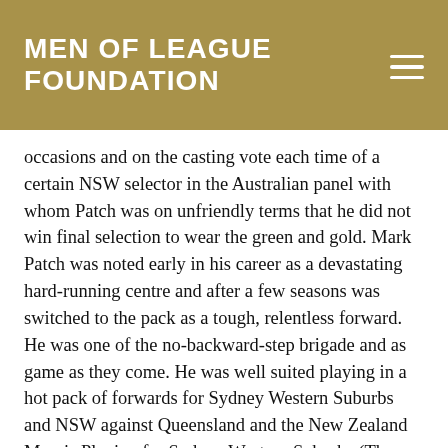MEN OF LEAGUE FOUNDATION
occasions and on the casting vote each time of a certain NSW selector in the Australian panel with whom Patch was on unfriendly terms that he did not win final selection to wear the green and gold. Mark Patch was noted early in his career as a devastating hard-running centre and after a few seasons was switched to the pack as a tough, relentless forward. He was one of the no-backward-step brigade and as game as they come. He was well suited playing in a hot pack of forwards for Sydney Western Suburbs and NSW against Queensland and the New Zealand Maoris.Playing for Sydney Western Suburbs (The Magpies), he reversed his previous Country versus City status, gaining selection for City.
After his years in Sydney Mark took up a country appointment with the Yass Rugby League club and